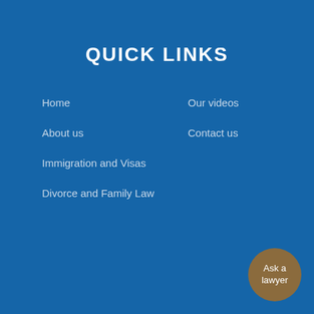QUICK LINKS
Home
About us
Immigration and Visas
Divorce and Family Law
Our videos
Contact us
Ask a lawyer